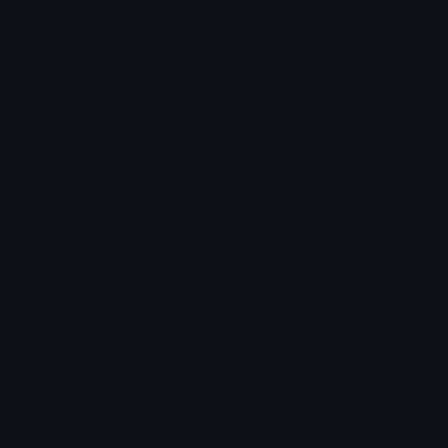Notice
We and selected third parties use cookies or similar technologies for technical purposes and, with your consent, for other purposes as specified in the cookie policy. Denying consent may make related features unavailable. You can consent to the use of such technologies by using the "Accept" button, by closing this notice, by scrolling this page, by interacting with any link or button outside of this notice or by continuing to browse otherwise.
Accept
Learn more and customize
understand, no matter what, everything will be okay.
Third, visualise the various plans being acted